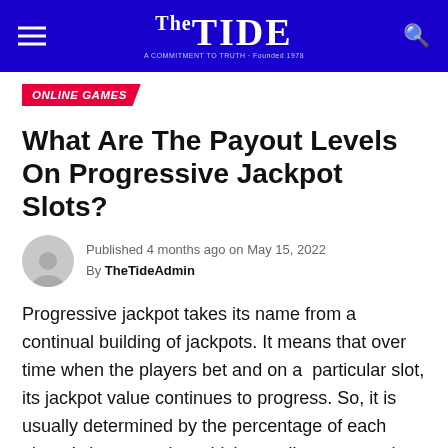The Tide
ONLINE GAMES
What Are The Payout Levels On Progressive Jackpot Slots?
Published 4 months ago on May 15, 2022
By TheTideAdmin
Progressive jackpot takes its name from a continual building of jackpots. It means that over time when the players bet and on a  particular slot, its jackpot value continues to progress. So, it is usually determined by the percentage of each player's bet on a slot, which contributes towards its increasing bet – also try Fishing Frenzy.
Therefore, in the field of video slots, the biggest ever